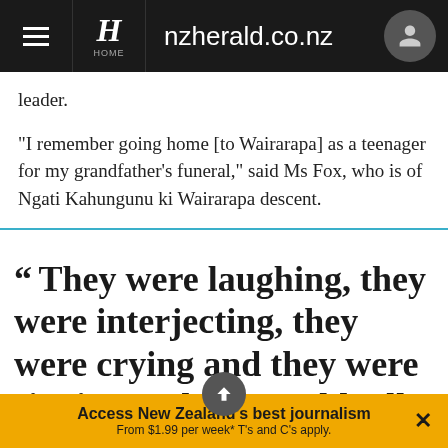nzherald.co.nz
leader.
"I remember going home [to Wairarapa] as a teenager for my grandfather's funeral," said Ms Fox, who is of Ngati Kahungunu ki Wairarapa descent.
“ They were laughing, they were interjecting, they were crying and they were singing and you could tell it
Access New Zealand's best journalism From $1.99 per week* T's and C's apply.